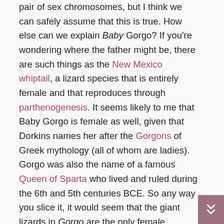pair of sex chromosomes, but I think we can safely assume that this is true. How else can we explain Baby Gorgo? If you're wondering where the father might be, there are such things as the New Mexico whiptail, a lizard species that is entirely female and that reproduces through parthenogenesis. It seems likely to me that Baby Gorgo is female as well, given that Dorkins names her after the Gorgons of Greek mythology (all of whom are ladies). Gorgo was also the name of a famous Queen of Sparta who lived and ruled during the 6th and 5th centuries BCE. So any way you slice it, it would seem that the giant lizards in Gorgo are the only female characters in this entire movie. This would